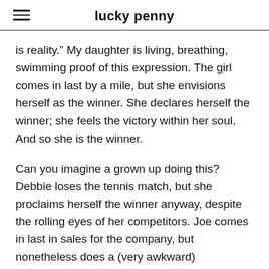lucky penny
is reality.” My daughter is living, breathing, swimming proof of this expression. The girl comes in last by a mile, but she envisions herself as the winner. She declares herself the winner; she feels the victory within her soul. And so she is the winner.
Can you imagine a grown up doing this? Debbie loses the tennis match, but she proclaims herself the winner anyway, despite the rolling eyes of her competitors. Joe comes in last in sales for the company, but nonetheless does a (very awkward)